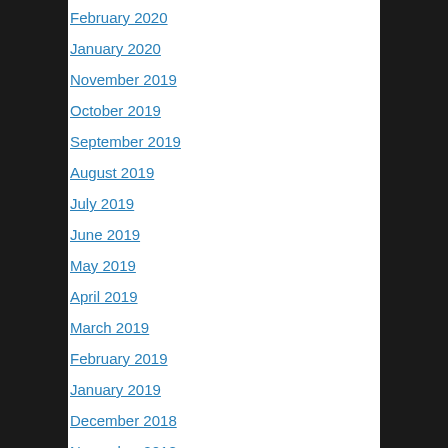February 2020
January 2020
November 2019
October 2019
September 2019
August 2019
July 2019
June 2019
May 2019
April 2019
March 2019
February 2019
January 2019
December 2018
November 2018
October 2018